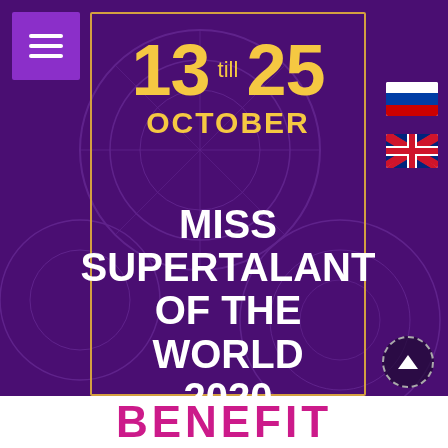[Figure (infographic): Event promotional banner with dark purple background and decorative circular patterns]
13 till 25 OCTOBER
MISS SUPERTALANT OF THE WORLD 2020
(Dubai, UAE)
more information...
BENEFIT